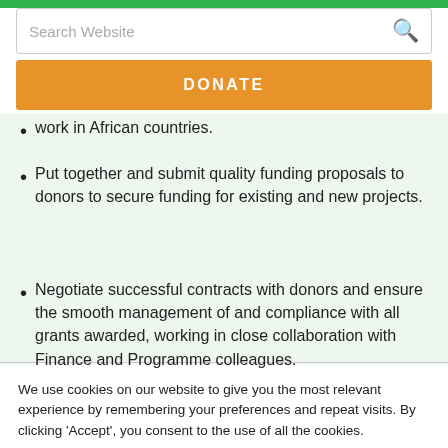Search Website
work in African countries.
Put together and submit quality funding proposals to donors to secure funding for existing and new projects.
Negotiate successful contracts with donors and ensure the smooth management of and compliance with all grants awarded, working in close collaboration with Finance and Programme colleagues.
We use cookies on our website to give you the most relevant experience by remembering your preferences and repeat visits. By clicking 'Accept', you consent to the use of all the cookies.
Cookie settings
ACCEPT